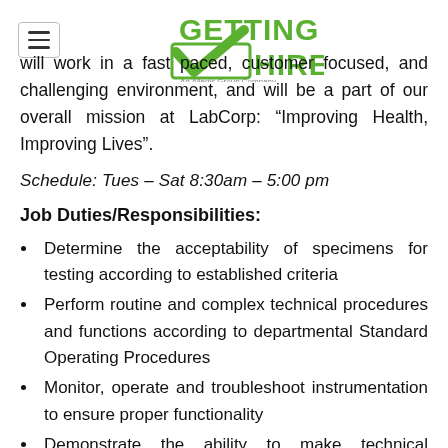[Figure (logo): Getting Hired logo - green text with checkmark, 'An Allegis Group Company' tagline]
will work in a fast paced, customer focused, and challenging environment, and will be a part of our overall mission at LabCorp: “Improving Health, Improving Lives”.
Schedule: Tues - Sat 8:30am - 5:00 pm
Job Duties/Responsibilities:
Determine the acceptability of specimens for testing according to established criteria
Perform routine and complex technical procedures and functions according to departmental Standard Operating Procedures
Monitor, operate and troubleshoot instrumentation to ensure proper functionality
Demonstrate the ability to make technical decisions regarding testing and problem